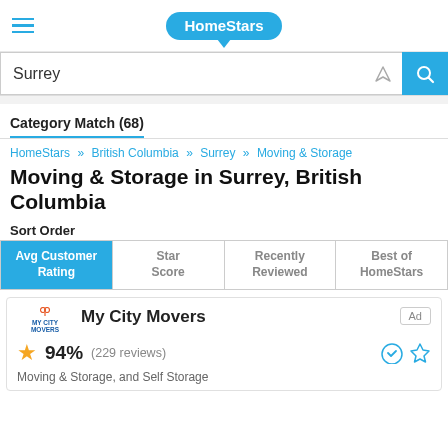[Figure (logo): HomeStars logo in blue speech bubble]
Surrey
Category Match (68)
HomeStars » British Columbia » Surrey » Moving & Storage
Moving & Storage in Surrey, British Columbia
Sort Order
| Avg Customer Rating | Star Score | Recently Reviewed | Best of HomeStars |
| --- | --- | --- | --- |
My City Movers
94% (229 reviews)
Moving & Storage, and Self Storage